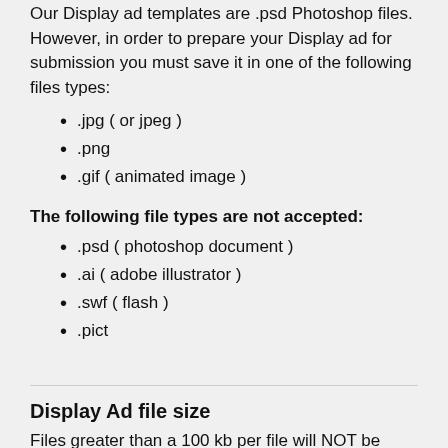Our Display ad templates are .psd Photoshop files. However, in order to prepare your Display ad for submission you must save it in one of the following files types:
.jpg ( or jpeg )
.png
.gif ( animated image )
The following file types are not accepted:
.psd ( photoshop document )
.ai ( adobe illustrator )
.swf ( flash )
.pict
Display Ad file size
Files greater than a 100 kb per file will NOT be served, as they may be rejected by the Ad server and not load on the user's browser. For